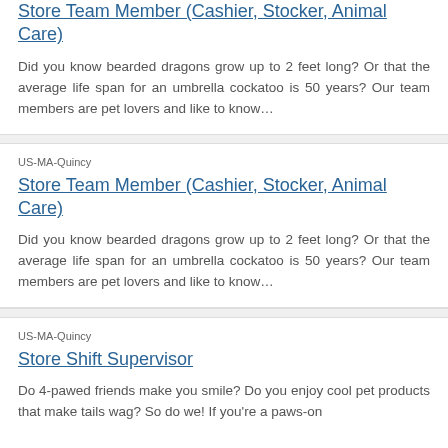Store Team Member (Cashier, Stocker, Animal Care)
Did you know bearded dragons grow up to 2 feet long? Or that the average life span for an umbrella cockatoo is 50 years? Our team members are pet lovers and like to know...
US-MA-Quincy
Store Team Member (Cashier, Stocker, Animal Care)
Did you know bearded dragons grow up to 2 feet long? Or that the average life span for an umbrella cockatoo is 50 years? Our team members are pet lovers and like to know...
US-MA-Quincy
Store Shift Supervisor
Do 4-pawed friends make you smile? Do you enjoy cool pet products that make tails wag? So do we! If you're a paws-on